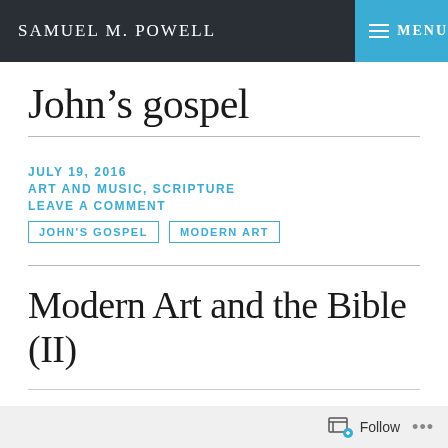SAMUEL M. POWELL   MENU
John's gospel
JULY 19, 2016
ART AND MUSIC, SCRIPTURE
LEAVE A COMMENT
JOHN'S GOSPEL
MODERN ART
Modern Art and the Bible (II)